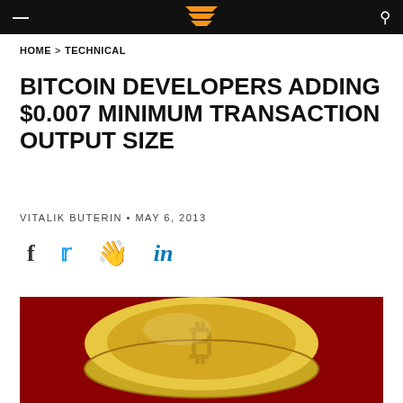Bitcoin Magazine header bar with logo
HOME > TECHNICAL
BITCOIN DEVELOPERS ADDING $0.007 MINIMUM TRANSACTION OUTPUT SIZE
VITALIK BUTERIN • MAY 6, 2013
[Figure (infographic): Social sharing icons: Facebook (f), Twitter (bird), Reddit (alien), LinkedIn (in)]
[Figure (photo): Gold Bitcoin coin on a red background, showing the Bitcoin logo with a stylized B and the word Bitcoin engraved on the edge]